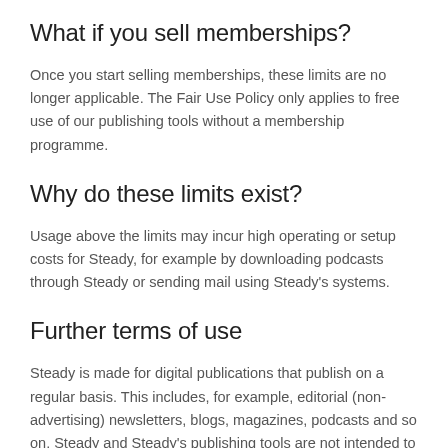What if you sell memberships?
Once you start selling memberships, these limits are no longer applicable. The Fair Use Policy only applies to free use of our publishing tools without a membership programme.
Why do these limits exist?
Usage above the limits may incur high operating or setup costs for Steady, for example by downloading podcasts through Steady or sending mail using Steady's systems.
Further terms of use
Steady is made for digital publications that publish on a regular basis. This includes, for example, editorial (non-advertising) newsletters, blogs, magazines, podcasts and so on. Steady and Steady's publishing tools are not intended to be used for other purposes such as…